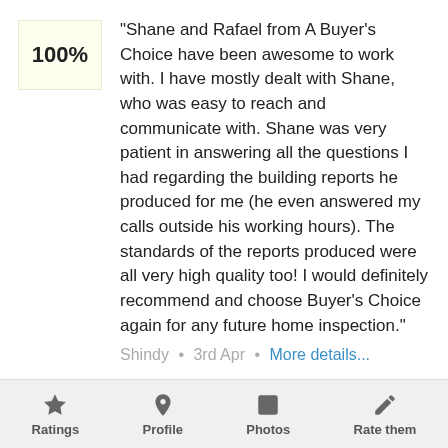"Shane and Rafael from A Buyer's Choice have been awesome to work with. I have mostly dealt with Shane, who was easy to reach and communicate with. Shane was very patient in answering all the questions I had regarding the building reports he produced for me (he even answered my calls outside his working hours). The standards of the reports produced were all very high quality too! I would definitely recommend and choose Buyer's Choice again for any future home inspection."
Shindy · 3rd Apr · More details...
"Stephen was very professional and personable from the start. He provided instant verbal feedback and then a detailed written report and
Ratings  Profile  Photos  Rate them